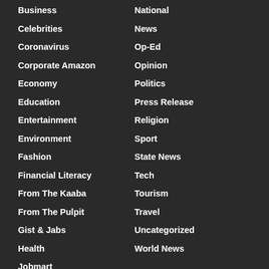Business
Celebrities
Coronavirus
Corporate Amazon
Economy
Education
Entertainment
Environment
Fashion
Financial Literacy
From The Kaaba
From The Pulpit
Gist & Jabs
Health
Jobmart
National
News
Op-Ed
Opinion
Politics
Press Release
Religion
Sport
State News
Tech
Tourism
Travel
Uncategorized
World News
Recent Posts